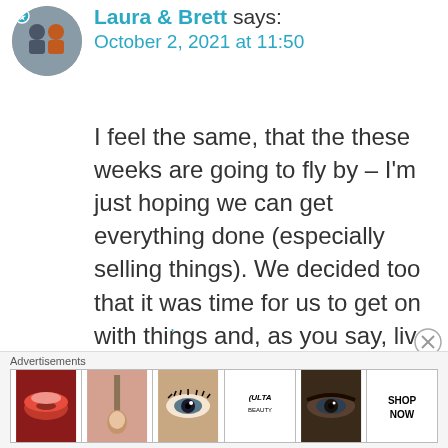[Figure (photo): Circular avatar photo of two people (Laura & Brett) outdoors, one wearing an orange jacket]
Laura & Brett says:
October 2, 2021 at 11:50
I feel the same, that the these weeks are going to fly by – I'm just hoping we can get everything done (especially selling things). We decided too that it was time for us to get on with things and, as you say, live our best life.
Advertisements
[Figure (photo): Advertisement banner showing makeup/beauty images including lips with lipstick, makeup brush, eye with mascara, ULTA Beauty logo, eye closeup, and SHOP NOW button]